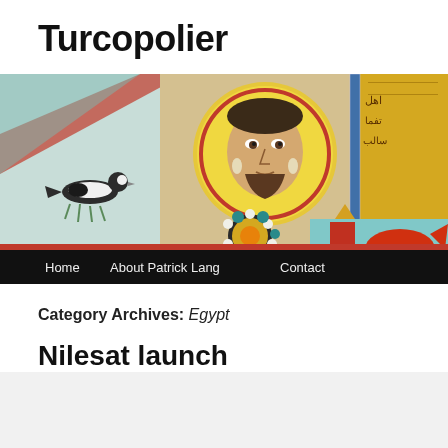Turcopolier
[Figure (photo): Byzantine-style mosaic depicting a figure with golden halo, ornate jeweled brooch, alongside a bird painting on the left and Arabic calligraphy panel on the right, with a figure holding an object at the bottom right.]
Home   About Patrick Lang   Contact
Category Archives: Egypt
Nilesat launch